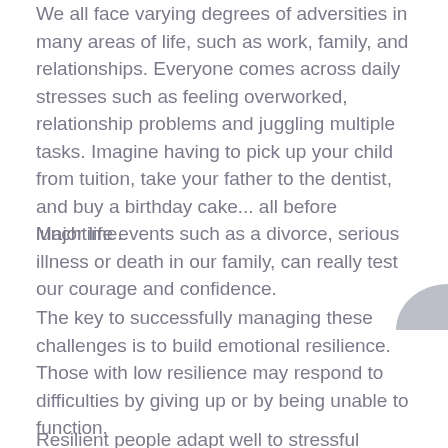We all face varying degrees of adversities in many areas of life, such as work, family, and relationships. Everyone comes across daily stresses such as feeling overworked, relationship problems and juggling multiple tasks. Imagine having to pick up your child from tuition, take your father to the dentist, and buy a birthday cake... all before lunchtime.
Major life events such as a divorce, serious illness or death in our family, can really test our courage and confidence.
[Figure (logo): Partial grey arc/logo shape visible at top right corner]
The key to successfully managing these challenges is to build emotional resilience. Those with low resilience may respond to difficulties by giving up or by being unable to function.
Resilient people adapt well to stressful situations and life-